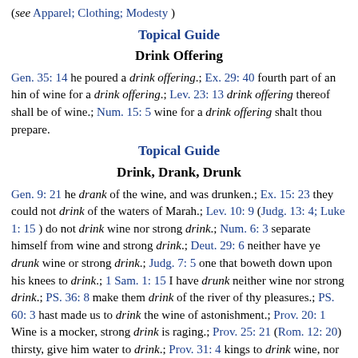(see Apparel; Clothing; Modesty )
Topical Guide
Drink Offering
Gen. 35: 14 he poured a drink offering.; Ex. 29: 40 fourth part of an hin of wine for a drink offering.; Lev. 23: 13 drink offering thereof shall be of wine.; Num. 15: 5 wine for a drink offering shalt thou prepare.
Topical Guide
Drink, Drank, Drunk
Gen. 9: 21 he drank of the wine, and was drunken.; Ex. 15: 23 they could not drink of the waters of Marah.; Lev. 10: 9 (Judg. 13: 4; Luke 1: 15 ) do not drink wine nor strong drink.; Num. 6: 3 separate himself from wine and strong drink.; Deut. 29: 6 neither have ye drunk wine or strong drink.; Judg. 7: 5 one that boweth down upon his knees to drink.; 1 Sam. 1: 15 I have drunk neither wine nor strong drink.; PS. 36: 8 make them drink of the river of thy pleasures.; PS. 60: 3 hast made us to drink the wine of astonishment.; Prov. 20: 1 Wine is a mocker, strong drink is raging.; Prov. 25: 21 (Rom. 12: 20) thirsty, give him water to drink.; Prov. 31: 4 kings to drink wine, nor for princes strong drink.; Prov. 31: 6 strong drink unto him that is